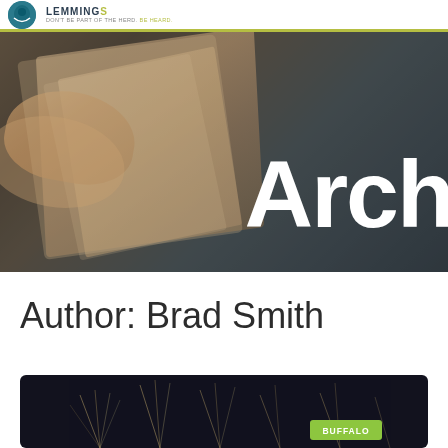DON'T BE PART OF THE HERD. BE HEARD.
[Figure (photo): Hero banner image showing wooden furniture and glasses with dark overlay, partially cropped, with large white text 'Arch' visible on right side]
Author: Brad Smith
[Figure (photo): Dark background with fireworks/sparkler image, with a green BUFFALO badge in the bottom right corner]